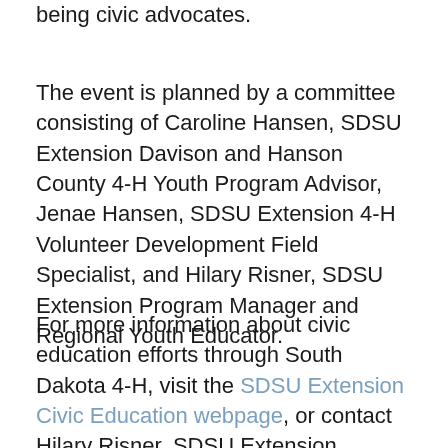being civic advocates.
The event is planned by a committee consisting of Caroline Hansen, SDSU Extension Davison and Hanson County 4-H Youth Program Advisor, Jenae Hansen, SDSU Extension 4-H Volunteer Development Field Specialist, and Hilary Risner, SDSU Extension Program Manager and Regional Youth Educator.
For more information about civic education efforts through South Dakota 4-H, visit the SDSU Extension Civic Education webpage, or contact Hilary Risner, SDSU Extension Program Manager and Regional Youth Educator, at Hilary.Risner@sdstate.edu or 605...